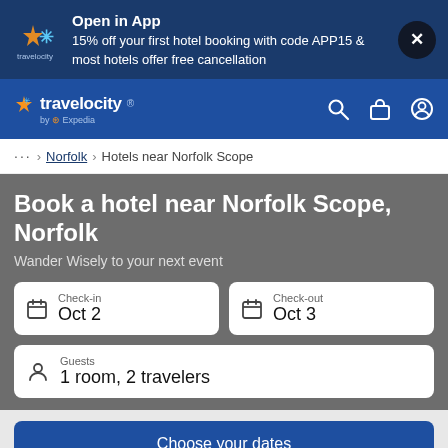[Figure (screenshot): Travelocity app promotional banner with logo, promotional text, and close button]
Open in App
15% off your first hotel booking with code APP15 & most hotels offer free cancellation
[Figure (logo): Travelocity navigation bar with logo, search, bag, and account icons]
… > Norfolk > Hotels near Norfolk Scope
Book a hotel near Norfolk Scope, Norfolk
Wander Wisely to your next event
Check-in
Oct 2
Check-out
Oct 3
Guests
1 room, 2 travelers
Choose your dates